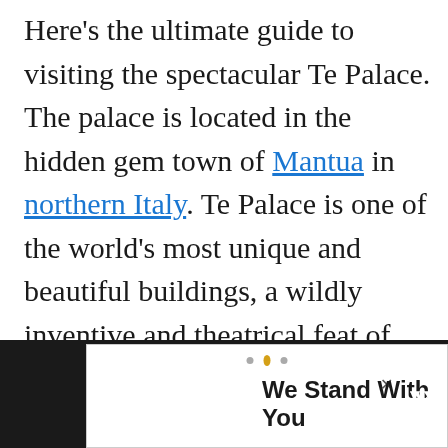Here's the ultimate guide to visiting the spectacular Te Palace. The palace is located in the hidden gem town of Mantua in northern Italy. Te Palace is one of the world's most unique and beautiful buildings, a wildly inventive and theatrical feat of both architecture and decoration.
[Figure (other): Advertisement bar at bottom of page: Ukraine flag (blue and yellow) with text 'We Stand With You' on dark background, close button X, CNN logo]